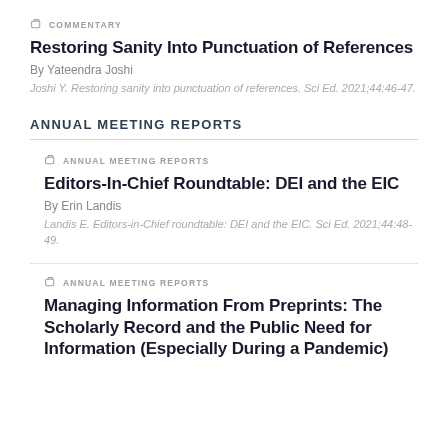COMMENTARY
Restoring Sanity Into Punctuation of References
By Yateendra Joshi
Joshi Y. Restoring sanity into punctuation of references. Sci Ed. 2021;44:46-47.
ANNUAL MEETING REPORTS
ANNUAL MEETING REPORTS
Editors-In-Chief Roundtable: DEI and the EIC
By Erin Landis
Landis E. Editors-in-Chief roundtable: DEI and the EIC. Sci Ed. 2021;44:48-49.
ANNUAL MEETING REPORTS
Managing Information From Preprints: The Scholarly Record and the Public Need for Information (Especially During a Pandemic)